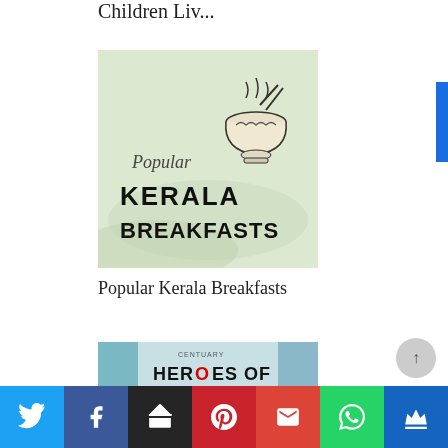Children Liv...
[Figure (illustration): Book cover: Popular Kerala Breakfasts, showing a bowl of steaming food on a light green background with text 'Popular' in script and 'KERALA BREAKFASTS' in bold block letters]
Popular Kerala Breakfasts
[Figure (illustration): Book cover partially visible: HEROES OF KINDNESS text on a teal/blue background]
Twitter | Facebook | Buffer | Pinterest | Gmail | WhatsApp | Crown